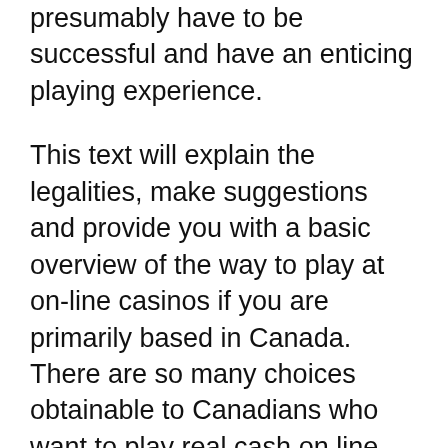presumably have to be successful and have an enticing playing experience.
This text will explain the legalities, make suggestions and provide you with a basic overview of the way to play at on-line casinos if you are primarily based in Canada. There are so many choices obtainable to Canadians who want to play real cash on line casino video games online, that the choice can seem a little bit overwhelming. The topic of authorized online playing in Canada is one thing that complicated fairly a lot of people.
The Greatest Online Casinos in Canada 2020 are reviewed and rated by real on-line on line casino consultants. Once you're pleased with the game and perceive how it works,